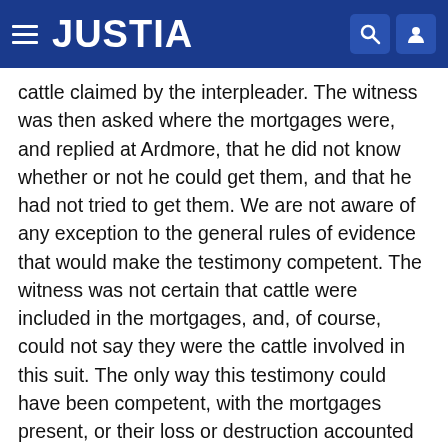JUSTIA
cattle claimed by the interpleader. The witness was then asked where the mortgages were, and replied at Ardmore, that he did not know whether or not he could get them, and that he had not tried to get them. We are not aware of any exception to the general rules of evidence that would make the testimony competent. The witness was not certain that cattle were included in the mortgages, and, of course, could not say they were the cattle involved in this suit. The only way this testimony could have been competent, with the mortgages present, or their loss or destruction accounted for, would have been to first show they included some of the same property now claimed by the interpleader, thus tending to show knowledge, consent, and acquiescence on her part to have them mortgaged by her husband. If they were other cattle than those claimed, the evidence would have been immaterial as